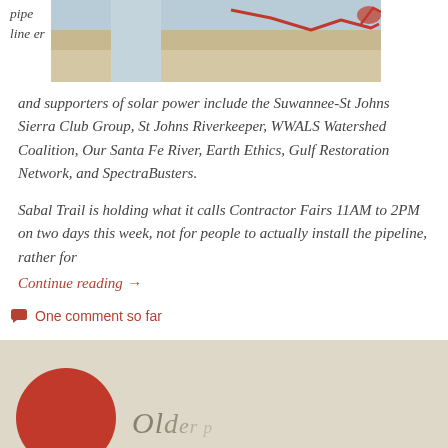[Figure (map): Partial view of a pipeline route map with red lines on a blue-gray and tan background, with text 'pipe line er' overlaid]
and supporters of solar power include the Suwannee-St Johns Sierra Club Group, St Johns Riverkeeper, WWALS Watershed Coalition, Our Santa Fe River, Earth Ethics, Gulf Restoration Network, and SpectraBusters.
Sabal Trail is holding what it calls Contractor Fairs 11AM to 2PM on two days this week, not for people to actually install the pipeline, rather for
Continue reading →
One comment so far
[Figure (illustration): Footer area with beige/tan background, a red circle partially visible on the left, and cursive/italic script text beginning with 'Ol']